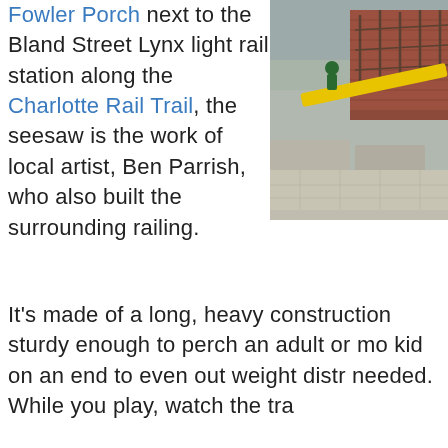Fowler Porch next to the Bland Street Lynx light rail station along the Charlotte Rail Trail, the seesaw is the work of local artist, Ben Parrish, who also built the surrounding railing.
[Figure (photo): Outdoor photo showing a yellow seesaw/beam installation next to concrete benches or planters near a light rail station. The background shows a red brick building and overcast sky.]
It's made of a long, heavy construction sturdy enough to perch an adult or mo kid on an end to even out weight distr needed. While you play, watch the tra